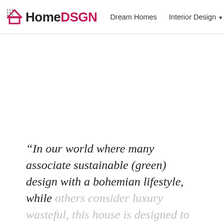HomeDSGN | Dream Homes | Interior Design | Hou
[Figure (photo): Large white/blank image area below the navigation bar]
“In our world where many associate sustainable (green) design with a bohemian lifestyle, while others consider luxury wasteful, this house is designed to prove they are not exclusive.